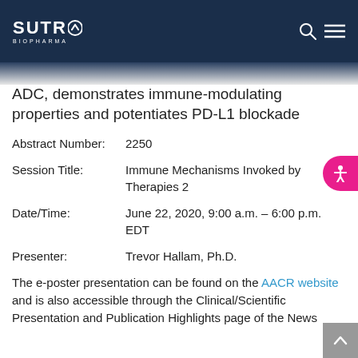SUTRO BIOPHARMA
ADC, demonstrates immune-modulating properties and potentiates PD-L1 blockade
Abstract Number: 2250
Session Title: Immune Mechanisms Invoked by Therapies 2
Date/Time: June 22, 2020, 9:00 a.m. – 6:00 p.m. EDT
Presenter: Trevor Hallam, Ph.D.
The e-poster presentation can be found on the AACR website and is also accessible through the Clinical/Scientific Presentation and Publication Highlights page of the News